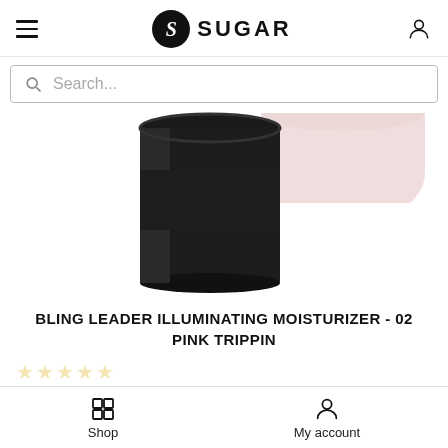SUGAR
Search...
[Figure (photo): A black cylindrical cosmetic container (Bling Leader Illuminating Moisturizer) shown from the front, with the top of a pink/rose-colored lid visible on the right side. The product packaging is matte black.]
BLING LEADER ILLUMINATING MOISTURIZER - 02 PINK TRIPPIN
☆☆☆☆☆
$15.99